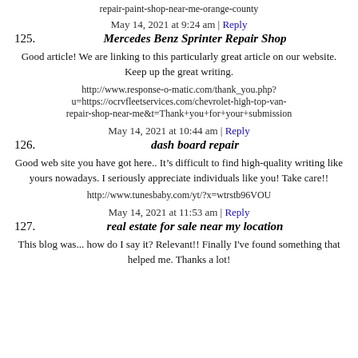repair-paint-shop-near-me-orange-county
May 14, 2021 at 9:24 am | Reply
125. Mercedes Benz Sprinter Repair Shop
Good article! We are linking to this particularly great article on our website. Keep up the great writing.
http://www.response-o-matic.com/thank_you.php?u=https://ocrvfleetservices.com/chevrolet-high-top-van-repair-shop-near-me&t=Thank+you+for+your+submission
May 14, 2021 at 10:44 am | Reply
126. dash board repair
Good web site you have got here.. It’s difficult to find high-quality writing like yours nowadays. I seriously appreciate individuals like you! Take care!!
http://www.tunesbaby.com/yt/?x=wtrstb96VOU
May 14, 2021 at 11:53 am | Reply
127. real estate for sale near my location
This blog was... how do I say it? Relevant!! Finally I've found something that helped me. Thanks a lot!